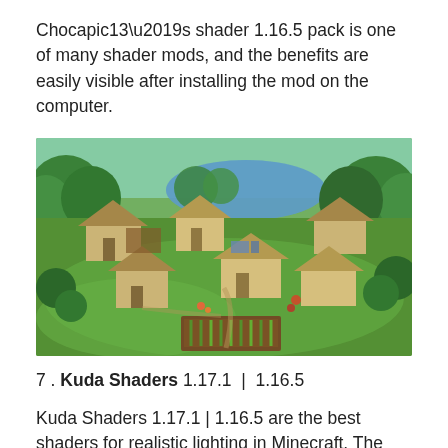Chocapic13’s shader 1.16.5 pack is one of many shader mods, and the benefits are easily visible after installing the mod on the computer.
[Figure (photo): Aerial view of a Minecraft village scene with shader graphics enabled, showing realistic lighting on buildings with thatched roofs surrounded by lush green trees, gardens and a lake in the background.]
7 . Kuda Shaders 1.17.1 | 1.16.5
Kuda Shaders 1.17.1 | 1.16.5 are the best shaders for realistic lighting in Minecraft. The